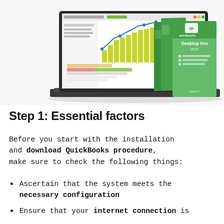[Figure (screenshot): Screenshot of QuickBooks software on a laptop screen showing a Profit & Loss chart with bar graph and line chart, alongside three QuickBooks Desktop product boxes (Desktop Accountant, Desktop Premier, Desktop Pro) with green packaging.]
Step 1: Essential factors
Before you start with the installation and download QuickBooks procedure, make sure to check the following things:
Ascertain that the system meets the necessary configuration
Ensure that your internet connection is